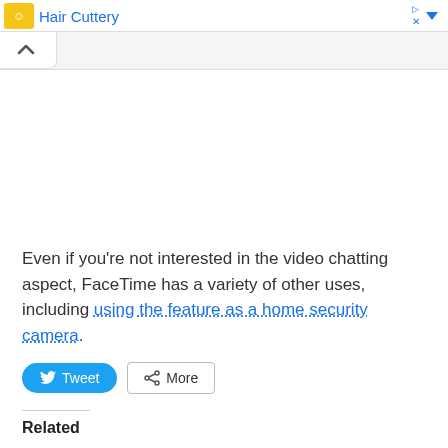[Figure (screenshot): Ad banner for Hair Cuttery with logo, title, and collapse/close controls]
Even if you're not interested in the video chatting aspect, FaceTime has a variety of other uses, including using the feature as a home security camera.
[Figure (screenshot): Tweet and More share buttons]
Related